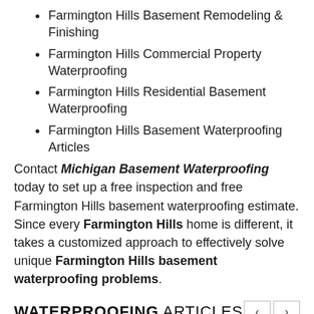Farmington Hills Basement Remodeling & Finishing
Farmington Hills Commercial Property Waterproofing
Farmington Hills Residential Basement Waterproofing
Farmington Hills Basement Waterproofing Articles
Contact Michigan Basement Waterproofing today to set up a free inspection and free Farmington Hills basement waterproofing estimate. Since every Farmington Hills home is different, it takes a customized approach to effectively solve unique Farmington Hills basement waterproofing problems.
WATERPROOFING ARTICLES
[Figure (photo): Black and white photograph showing a basement or foundation wall/crawlspace area, partially visible at the bottom of the page]